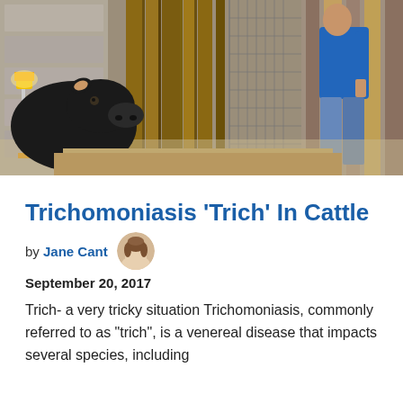[Figure (photo): A black cow with its head through wooden fence boards in a barn, and a man in a blue shirt and jeans working on the other side of the fence structure. A yellow work light is visible on the left.]
Trichomoniasis ‘Trich’ In Cattle
by Jane Cant  September 20, 2017
Trich- a very tricky situation Trichomoniasis, commonly referred to as “trich”, is a venereal disease that impacts several species, including